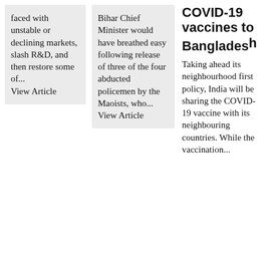faced with unstable or declining markets, slash R&D, and then restore some of... View Article
Bihar Chief Minister would have breathed easy following release of three of the four abducted policemen by the Maoists, who... View Article
COVID-19 vaccines to Bangladesh
Taking ahead its neighbourhood first policy, India will be sharing the COVID-19 vaccine with its neighbouring countries. While the vaccination...